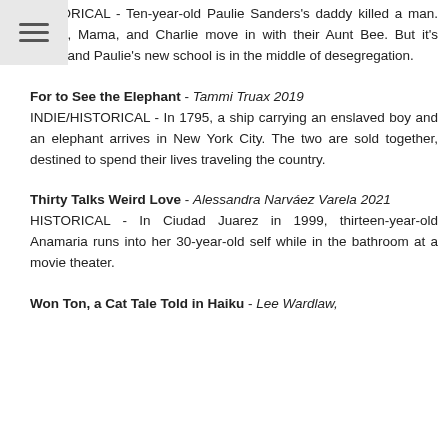HISTORICAL - Ten-year-old Paulie Sanders's daddy killed a man. Paulie, Mama, and Charlie move in with their Aunt Bee. But it's 1972, and Paulie's new school is in the middle of desegregation.
For to See the Elephant - Tammi Truax 2019
INDIE/HISTORICAL - In 1795, a ship carrying an enslaved boy and an elephant arrives in New York City. The two are sold together, destined to spend their lives traveling the country.
Thirty Talks Weird Love - Alessandra Narváez Varela 2021
HISTORICAL - In Ciudad Juarez in 1999, thirteen-year-old Anamaria runs into her 30-year-old self while in the bathroom at a movie theater.
Won Ton, a Cat Tale Told in Haiku - Lee Wardlaw,